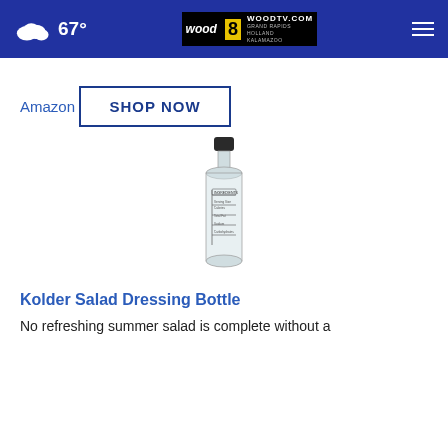67° WOODTV.COM GRAND RAPIDS HOLLAND KALAMAZOO
Amazon
SHOP NOW
[Figure (photo): A clear glass salad dressing bottle with a dark lid and measurement markings printed on the side, shown on a white background.]
Kolder Salad Dressing Bottle
No refreshing summer salad is complete without a